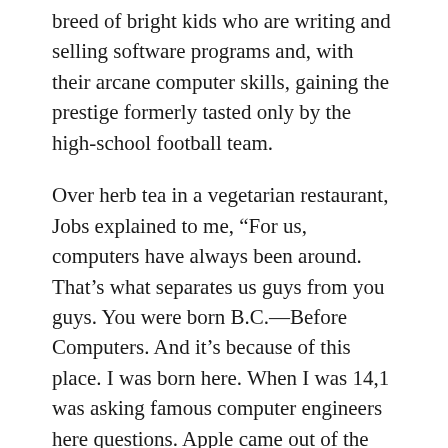breed of bright kids who are writing and selling software programs and, with their arcane computer skills, gaining the prestige formerly tasted only by the high-school football team.
Over herb tea in a vegetarian restaurant, Jobs explained to me, “For us, computers have always been around. That’s what separates us guys from you guys. You were born B.C.—Before Computers. And it’s because of this place. I was born here. When I was 14,1 was asking famous computer engineers here questions. Apple came out of the microprocessor, created in this valley just five miles from here.”
Jobs’s passion has paid off handsomely. With Steve Wozniak he built his first Apple in 1976 in his parents’